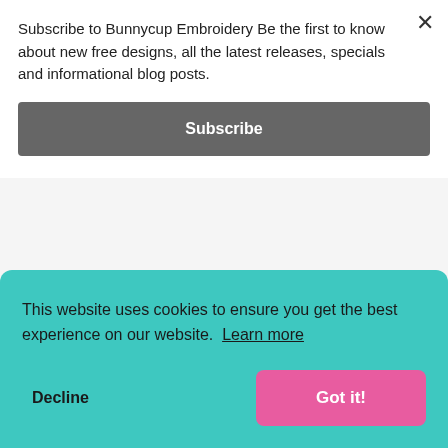Subscribe to Bunnycup Embroidery Be the first to know about new free designs, all the latest releases, specials and informational blog posts.
Subscribe
[Figure (screenshot): Two embroidery product card thumbnails with Facebook and Pinterest social icons, pink add-to-cart buttons, and teal title bars reading 'Ink Flower Redwork Blocks 9' and 'Ink Flower Redwork Blocks 10', each priced at $4.00]
This website uses cookies to ensure you get the best experience on our website. Learn more
Decline
Got it!